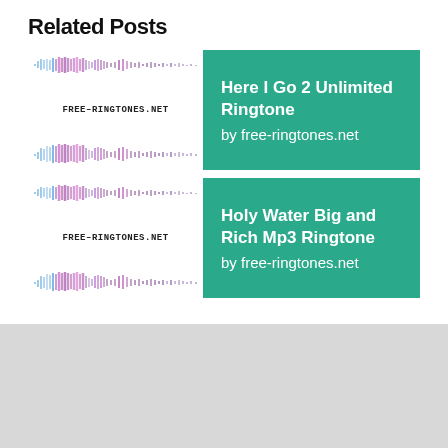Related Posts
[Figure (illustration): Audio waveform thumbnail for 'Here I Go 2 Unlimited Ringtone' with FREE-RINGTONES.NET label]
Here I Go 2 Unlimited Ringtone
by free-ringtones.net
[Figure (illustration): Audio waveform thumbnail for 'Holy Water Big and Rich Mp3 Ringtone' with FREE-RINGTONES.NET label]
Holy Water Big and Rich Mp3 Ringtone
by free-ringtones.net
[Figure (other): Empty gray advertisement or widget area below the related posts section]